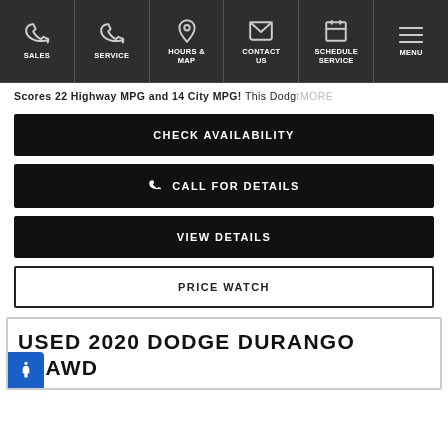SALES | SERVICE | HOURS & MAP | CONTACT US | SCHEDULE SERVICE | MENU
Scores 22 Highway MPG and 14 City MPG! This Dodge MORE
CHECK AVAILABILITY
CALL FOR DETAILS
VIEW DETAILS
PRICE WATCH
USED 2020 DODGE DURANGO /T AWD